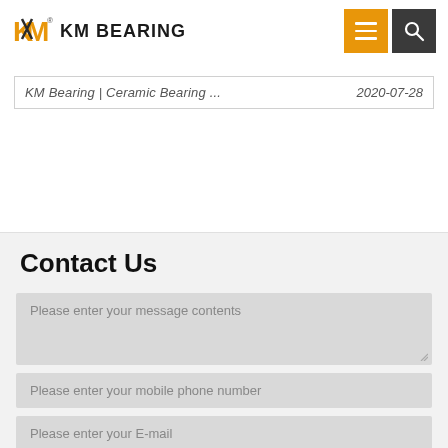KM BEARING
| Title | Date |
| --- | --- |
| KM Bearing | Ceramic Bearing ... | 2020-07-28 |
Contact Us
Please enter your message contents
Please enter your mobile phone number
Please enter your E-mail